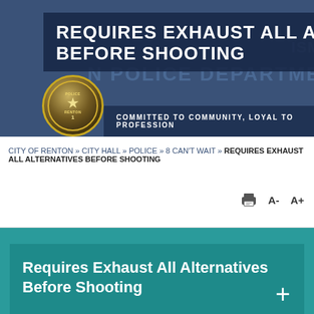[Figure (logo): Renton Police Department banner with badge logo and tagline 'Committed to Community, Loyal to Profession'. Dark navy background with large white text 'REQUIRES EXHAUST ALL ALTERNATIVES BEFORE SHOOTING'.]
CITY OF RENTON » CITY HALL » POLICE » 8 CAN'T WAIT » REQUIRES EXHAUST ALL ALTERNATIVES BEFORE SHOOTING
Requires Exhaust All Alternatives Before Shooting